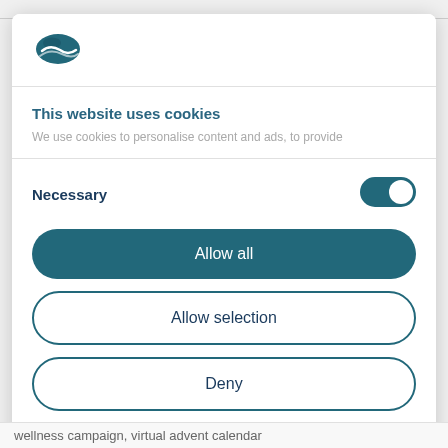[Figure (logo): Cookiebot logo - blue stylized cookie/badge icon]
This website uses cookies
We use cookies to personalise content and ads, to provide
Necessary
[Figure (other): Toggle switch in ON/enabled state (teal/blue)]
Allow all
Allow selection
Deny
Powered by Cookiebot by Usercentrics
wellness campaign, virtual advent calendar